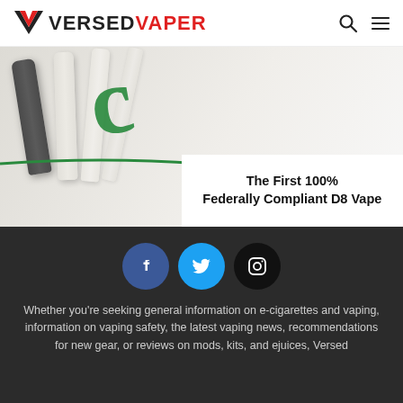VERSED VAPER
[Figure (photo): Advertisement banner for a D8 Vape product. Shows dark gray and cream colored vape pen devices against a light background with a green decorative swirl/cursive element. Text overlay reads: The First 100% Federally Compliant D8 Vape]
[Figure (infographic): Three social media icons in circles: Facebook (blue circle with f), Twitter (light blue circle with bird), Instagram (black circle with camera outline)]
Whether you’re seeking general information on e-cigarettes and vaping, information on vaping safety, the latest vaping news, recommendations for new gear, or reviews on mods, kits, and ejuices, Versed Vaper is the place you need to be.